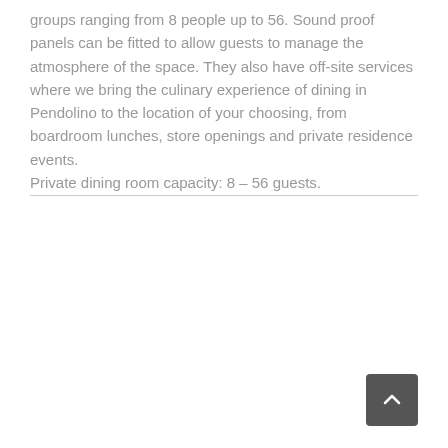groups ranging from 8 people up to 56. Sound proof panels can be fitted to allow guests to manage the atmosphere of the space. They also have off-site services where we bring the culinary experience of dining in Pendolino to the location of your choosing, from boardroom lunches, store openings and private residence events.
Private dining room capacity: 8 – 56 guests.
[Figure (other): A dark grey rounded-rectangle button with a white upward-pointing chevron arrow, used as a scroll-to-top button.]